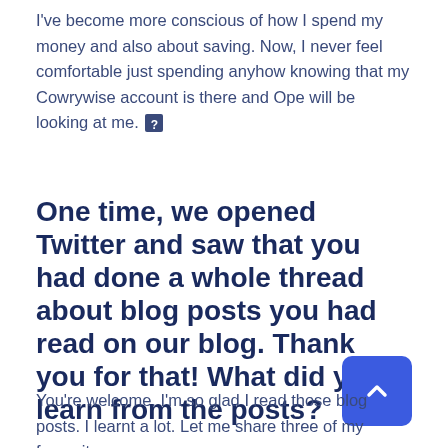I've become more conscious of how I spend my money and also about saving. Now, I never feel comfortable just spending anyhow knowing that my Cowrywise account is there and Ope will be looking at me. 🔲
One time, we opened Twitter and saw that you had done a whole thread about blog posts you had read on our blog. Thank you for that! What did you learn from the posts?
You're welcome. I'm so glad I read those blog posts. I learnt a lot. Let me share three of my favourite